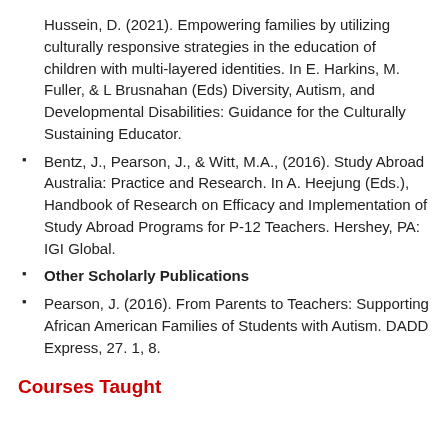Hussein, D. (2021). Empowering families by utilizing culturally responsive strategies in the education of children with multi-layered identities. In E. Harkins, M. Fuller, & L Brusnahan (Eds) Diversity, Autism, and Developmental Disabilities: Guidance for the Culturally Sustaining Educator.
Bentz, J., Pearson, J., & Witt, M.A., (2016). Study Abroad Australia: Practice and Research. In A. Heejung (Eds.), Handbook of Research on Efficacy and Implementation of Study Abroad Programs for P-12 Teachers. Hershey, PA: IGI Global.
Other Scholarly Publications
Pearson, J. (2016). From Parents to Teachers: Supporting African American Families of Students with Autism. DADD Express, 27. 1, 8.
Courses Taught